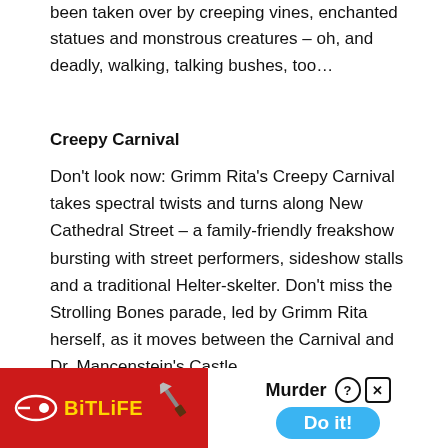been taken over by creeping vines, enchanted statues and monstrous creatures – oh, and deadly, walking, talking bushes, too…
Creepy Carnival
Don't look now: Grimm Rita's Creepy Carnival takes spectral twists and turns along New Cathedral Street – a family-friendly freakshow bursting with street performers, sideshow stalls and a traditional Helter-skelter. Don't miss the Strolling Bones parade, led by Grimm Rita herself, as it moves between the Carnival and Dr. Mancenstein's Castle.
[Figure (other): More Info button with close (x) button and wavy line separator]
[Figure (other): BitLife advertisement banner with Murder Do it! text and logo]